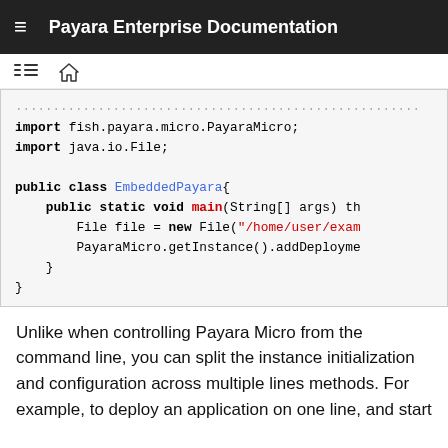Payara Enterprise Documentation
[Figure (screenshot): Toolbar icons: hamburger list and home icon]
import fish.payara.micro.PayaraMicro;
import java.io.File;

public class EmbeddedPayara{
    public static void main(String[] args) th
        File file = new File("/home/user/exam
        PayaraMicro.getInstance().addDeployme
    }
}
Unlike when controlling Payara Micro from the command line, you can split the instance initialization and configuration across multiple lines methods. For example, to deploy an application on one line, and start